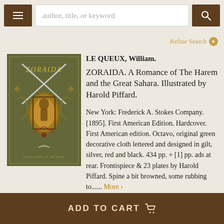author, title, or keyword [search bar with hamburger menu and search button]
Refine Search
[Figure (photo): Front cover of 'Zoraida' by William Le Queux, olive green decorative cloth with gilt, silver, red and black design featuring curved swords, ornate medallion, and crescent moon]
LE QUEUX, William.
ZORAIDA. A Romance of The Harem and the Great Sahara. Illustrated by Harold Piffard.
New York: Frederick A. Stokes Company. [1895]. First American Edition. Hardcover. First American edition. Octavo, original green decorative cloth lettered and designed in gilt, silver, red and black. 434 pp. + [1] pp. ads at rear. Frontispiece & 23 plates by Harold Piffard. Spine a bit browned, some rubbing to...... More ›
ADD TO CART